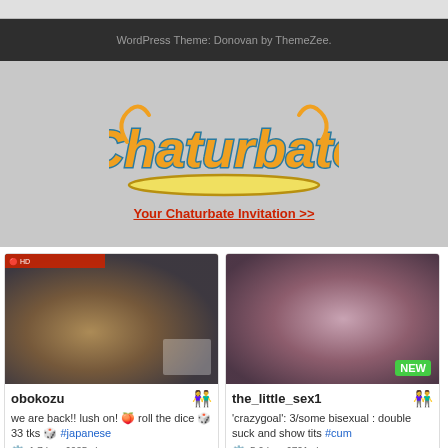WordPress Theme: Donovan by ThemeZee.
[Figure (logo): Chaturbate logo — orange cursive lettering with teal outline on grey background]
Your Chaturbate Invitation >>
[Figure (photo): Live stream thumbnail for obokozu]
obokozu
we are back!! lush on! 🍑 roll the dice 🎲 33 tks 🎲 #japanese
1.7 hrs, 6935 viewers
[Figure (photo): Live stream thumbnail for the_little_sex1 with NEW badge]
the_little_sex1
'crazygoal': 3/some bisexual : double suck and show tits #cum
5.0 hrs, 6721 viewers